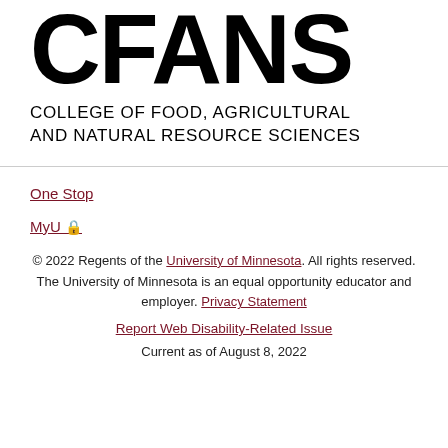[Figure (logo): CFANS logo — large bold text 'CFANS' above the text 'COLLEGE OF FOOD, AGRICULTURAL AND NATURAL RESOURCE SCIENCES']
One Stop
MyU 🔒
© 2022 Regents of the University of Minnesota. All rights reserved. The University of Minnesota is an equal opportunity educator and employer. Privacy Statement
Report Web Disability-Related Issue
Current as of August 8, 2022